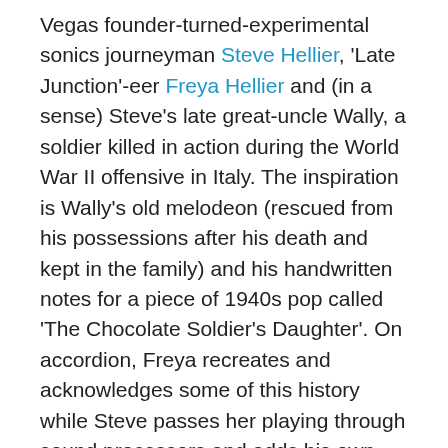Vegas founder-turned-experimental sonics journeyman Steve Hellier, 'Late Junction'-eer Freya Hellier and (in a sense) Steve's late great-uncle Wally, a soldier killed in action during the World War II offensive in Italy. The inspiration is Wally's old melodeon (rescued from his possessions after his death and kept in the family) and his handwritten notes for a piece of 1940s pop called 'The Chocolate Soldier's Daughter'. On accordion, Freya recreates and acknowledges some of this history while Steve passes her playing through sound processors and adds his own contributions via laptop and mixing: laced with further sound samples from the Hellier family archives, it's a different kind of album project, surrealizing and loosening familial memory and once-or-twice-removed community history.
It's all now enough to stop me from being able to bring you